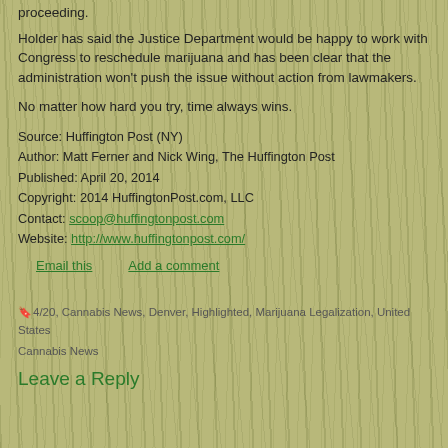proceeding.
Holder has said the Justice Department would be happy to work with Congress to reschedule marijuana and has been clear that the administration won't push the issue without action from lawmakers.
No matter how hard you try, time always wins.
Source: Huffington Post (NY)
Author: Matt Ferner and Nick Wing, The Huffington Post
Published: April 20, 2014
Copyright: 2014 HuffingtonPost.com, LLC
Contact: scoop@huffingtonpost.com
Website: http://www.huffingtonpost.com/
Email this   Add a comment
4/20, Cannabis News, Denver, Highlighted, Marijuana Legalization, United States
Cannabis News
Leave a Reply